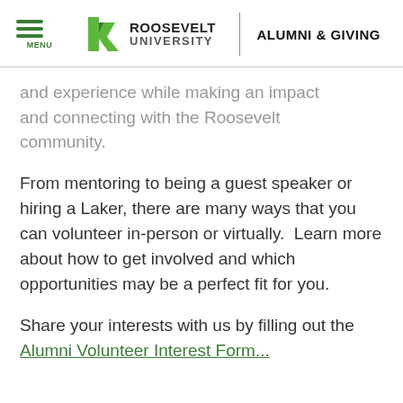[Figure (logo): Roosevelt University Alumni & Giving header with hamburger menu, Roosevelt University logo (R mark with ROOSEVELT UNIVERSITY text), vertical divider, and ALUMNI & GIVING text]
and experience while making an impact and connecting with the Roosevelt community.
From mentoring to being a guest speaker or hiring a Laker, there are many ways that you can volunteer in-person or virtually.  Learn more about how to get involved and which opportunities may be a perfect fit for you.
Share your interests with us by filling out the Alumni Volunteer Interest Form...